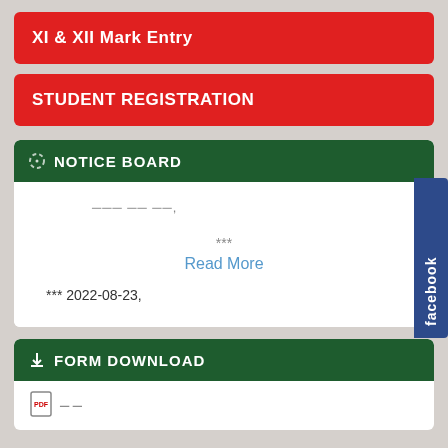XI & XII Mark Entry
STUDENT REGISTRATION
NOTICE BOARD
--- -- --,
***
Read More
*** 2022-08-23,
FORM DOWNLOAD
- -